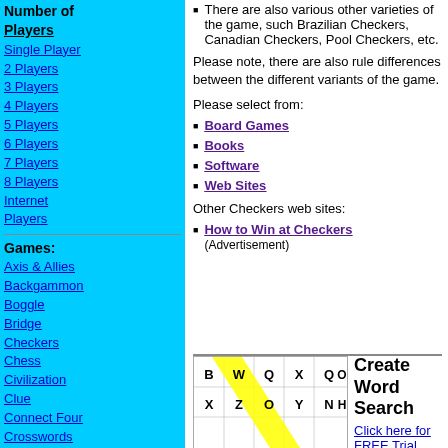Number of Players
Single Player
2 Players
3 Players
4 Players
5 Players
6 Players
7 Players
8 Players
Internet Players
Games:
Axis & Allies
Backgammon
Boggle
Bridge
Checkers
Chess
Civilization
Clue
Connect Four
Crosswords
Diplomacy
Dungeons and Dragons
Empire Earth
There are also various other varieties of the game, such Brazilian Checkers, Canadian Checkers, Pool Checkers, etc.
Please note, there are also rule differences between the different variants of the game.
Please select from:
Board Games
Books
Software
Web Sites
Other Checkers web sites:
How to Win at Checkers (Advertisement)
[Figure (other): Word search puzzle grid with letters including B, W, Q, X, Q, O, X, Z, O, Y, N, H and a yellow diagonal stripe]
Create Word Search Click here for FREE Trial